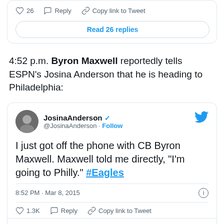[Figure (screenshot): Top of a tweet card showing action bar with heart icon, 26 likes, Reply, Copy link to Tweet, and a Read 26 replies button]
4:52 p.m. Byron Maxwell reportedly tells ESPN's Josina Anderson that he is heading to Philadelphia:
[Figure (screenshot): Tweet from JosinaAnderson (@JosinaAnderson) with verified badge and Follow button. Tweet text: I just got off the phone with CB Byron Maxwell. Maxwell told me directly, "I'm going to Philly." #Eagles. Timestamp: 8:52 PM · Mar 8, 2015. Likes: 1.3K. Actions: Reply, Copy link to Tweet. Read 187 replies button at bottom.]